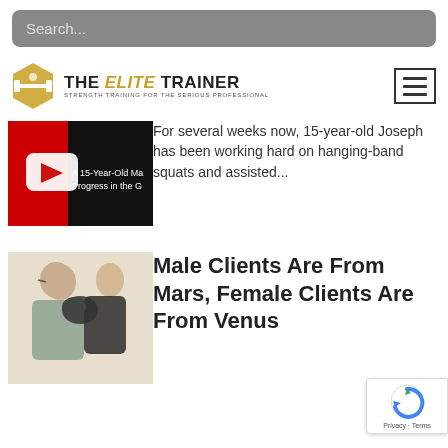Search...
[Figure (logo): The Elite Trainer logo with barbell icon and tagline: STRENGTH TRAINING FOR THE SERIOUS PROFESSIONAL]
[Figure (screenshot): YouTube-style video thumbnail showing 'A 15-Year-Old Ma... Progress in the G...' with red play button]
For several weeks now, 15-year-old Joseph has been working hard on hanging-band squats and assisted...
Male Clients Are From Mars, Female Clients Are From Venus
[Figure (photo): A woman in boxing gloves punching a man in the face]
[Figure (logo): Google reCAPTCHA badge with Privacy and Terms links]